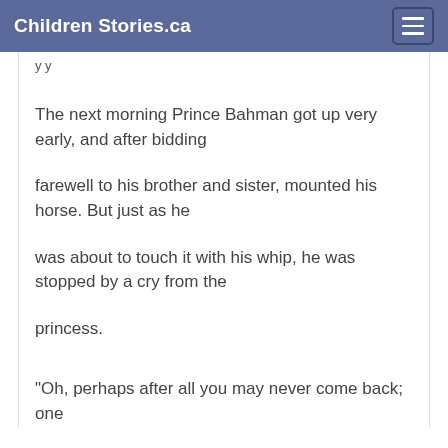Children Stories.ca
y y
The next morning Prince Bahman got up very early, and after bidding
farewell to his brother and sister, mounted his horse. But just as he
was about to touch it with his whip, he was stopped by a cry from the
princess.
"Oh, perhaps after all you may never come back; one